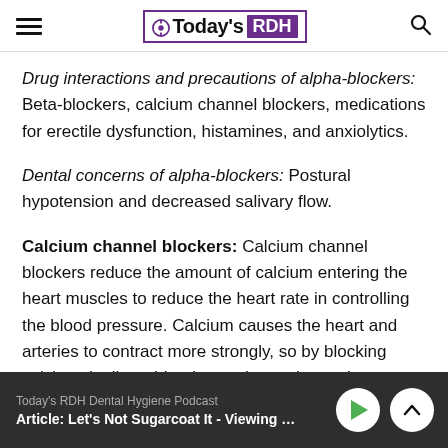Today's RDH
Drug interactions and precautions of alpha-blockers: Beta-blockers, calcium channel blockers, medications for erectile dysfunction, histamines, and anxiolytics.
Dental concerns of alpha-blockers: Postural hypotension and decreased salivary flow.
Calcium channel blockers: Calcium channel blockers reduce the amount of calcium entering the heart muscles to reduce the heart rate in controlling the blood pressure. Calcium causes the heart and arteries to contract more strongly, so by blocking calcium, it allows blood vessels to relax and
Today's RDH Dental Hygiene Podcast
Article: Let's Not Sugarcoat It - Viewing Sweet